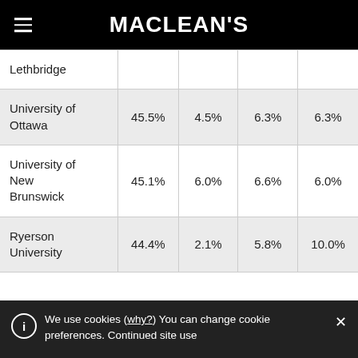MACLEAN'S
| University | Col1 | Col2 | Col3 | Col4 |
| --- | --- | --- | --- | --- |
| Lethbridge |  |  |  |  |
| University of Ottawa | 45.5% | 4.5% | 6.3% | 6.3% |
| University of New Brunswick | 45.1% | 6.0% | 6.6% | 6.0% |
| Ryerson University | 44.4% | 2.1% | 5.8% | 10.0% |
We use cookies (why?) You can change cookie preferences. Continued site use